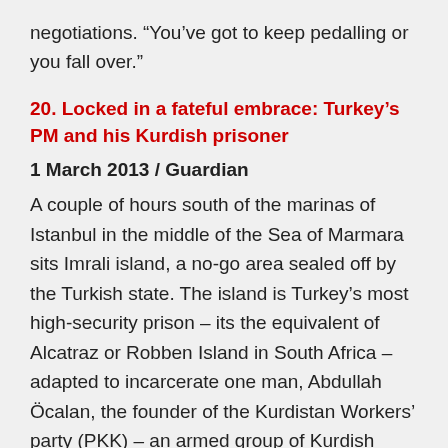negotiations. “You’ve got to keep pedalling or you fall over.”
20. Locked in a fateful embrace: Turkey’s PM and his Kurdish prisoner
1 March 2013 / Guardian
A couple of hours south of the marinas of Istanbul in the middle of the Sea of Marmara sits Imrali island, a no-go area sealed off by the Turkish state. The island is Turkey’s most high-security prison – its the equivalent of Alcatraz or Robben Island in South Africa – adapted to incarcerate one man, Abdullah Öcalan, the founder of the Kurdistan Workers’ party (PKK) – an armed group of Kurdish fighters engaged in an insurrection